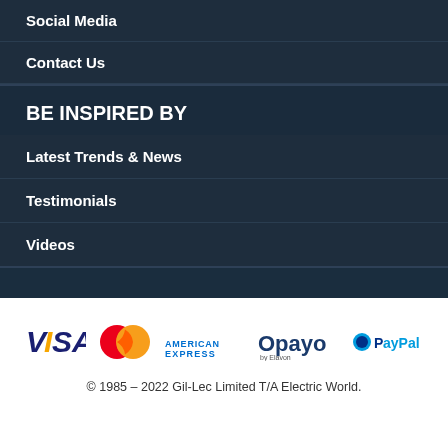Social Media
Contact Us
BE INSPIRED BY
Latest Trends & News
Testimonials
Videos
[Figure (logo): Payment method logos: Visa, MasterCard, American Express, Opayo by Elavon, PayPal]
© 1985 – 2022 Gil-Lec Limited T/A Electric World.